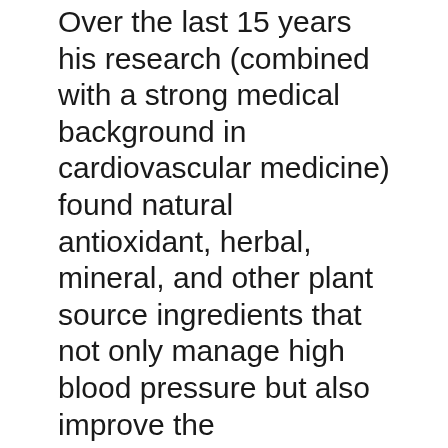Over the last 15 years his research (combined with a strong medical background in cardiovascular medicine) found natural antioxidant, herbal, mineral, and other plant source ingredients that not only manage high blood pressure but also improve the cardiovascular and arterial system. He has managed to lower his blood pressure from 185 over 95 to everyday readings of under 120 over 80.
His long everyday journey to find a successful formulation for himself inspired him to share his formula with everyone who suffers with high blood pressure. This is how Everyday Cardio Care was created.
The research and development to create our formula is based on actual clinical and scientific